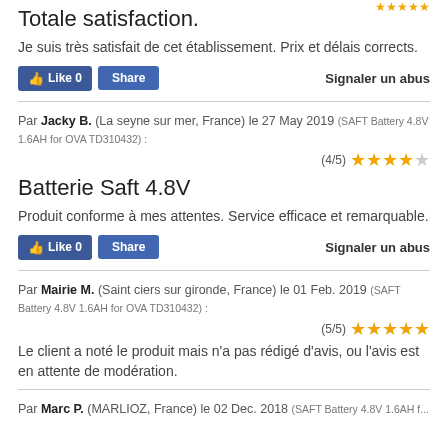Totale satisfaction.
Je suis très satisfait de cet établissement. Prix et délais corrects.
Signaler un abus
Par Jacky B. (La seyne sur mer, France) le 27 May 2019 (SAFT Battery 4.8V 1.6AH for OVA TD310432) : (4/5)
Batterie Saft 4.8V
Produit conforme à mes attentes. Service efficace et remarquable.
Signaler un abus
Par Mairie M. (Saint ciers sur gironde, France) le 01 Feb. 2019 (SAFT Battery 4.8V 1.6AH for OVA TD310432) : (5/5)
Le client a noté le produit mais n'a pas rédigé d'avis, ou l'avis est en attente de modération.
Par Marc P. (MARLIOZ, France) le 02 Dec. 2018 (SAFT Battery 4.8V 1.6AH for...